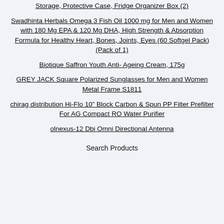Storage, Protective Case, Fridge Organizer Box (2)
Swadhinta Herbals Omega 3 Fish Oil 1000 mg for Men and Women with 180 Mg EPA & 120 Mg DHA, High Strength & Absorption Formula for Healthy Heart, Bones, Joints, Eyes (60 Softgel Pack) (Pack of 1)
Biotique Saffron Youth Anti- Ageing Cream, 175g
GREY JACK Square Polarized Sunglasses for Men and Women Metal Frame S1811
chirag distribution Hi-Flo 10” Block Carbon & Spun PP Filter Prefilter For AG Compact RO Water Purifier
olnexus-12 Dbi Omni Directional Antenna
Search Products